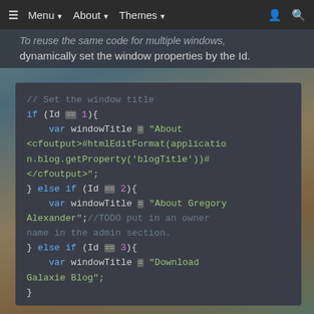≡  Menu ▼  About ▼  Themes ▼  👤  🔍
To reuse the same code for multiple windows, dynamically set the window properties by the Id.
[Figure (screenshot): Code block showing JavaScript/ColdFusion code with syntax highlighting. Code sets window title based on Id value: if (Id == 1) sets 'About <cfoutput>#htmlEditFormat(application.blog.getProperty("blogTitle"))#</cfoutput>'; else if (Id == 2) sets 'About Gregory Alexander' with TODO comment; else if (Id == 3) sets 'Download Galaxie Blog'.]